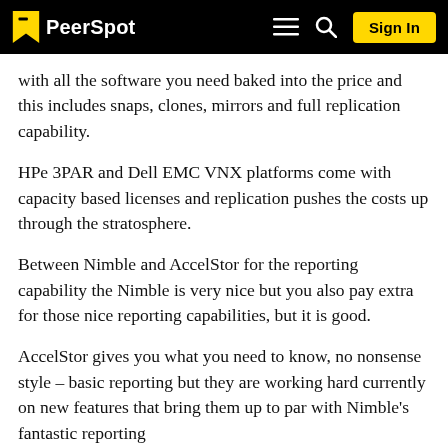PeerSpot | Sign In
with all the software you need baked into the price and this includes snaps, clones, mirrors and full replication capability.
HPe 3PAR and Dell EMC VNX platforms come with capacity based licenses and replication pushes the costs up through the stratosphere.
Between Nimble and AccelStor for the reporting capability the Nimble is very nice but you also pay extra for those nice reporting capabilities, but it is good.
AccelStor gives you what you need to know, no nonsense style – basic reporting but they are working hard currently on new features that bring them up to par with Nimble's fantastic reporting